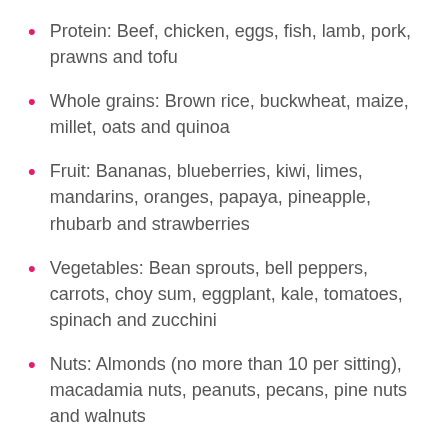Protein: Beef, chicken, eggs, fish, lamb, pork, prawns and tofu
Whole grains: Brown rice, buckwheat, maize, millet, oats and quinoa
Fruit: Bananas, blueberries, kiwi, limes, mandarins, oranges, papaya, pineapple, rhubarb and strawberries
Vegetables: Bean sprouts, bell peppers, carrots, choy sum, eggplant, kale, tomatoes, spinach and zucchini
Nuts: Almonds (no more than 10 per sitting), macadamia nuts, peanuts, pecans, pine nuts and walnuts